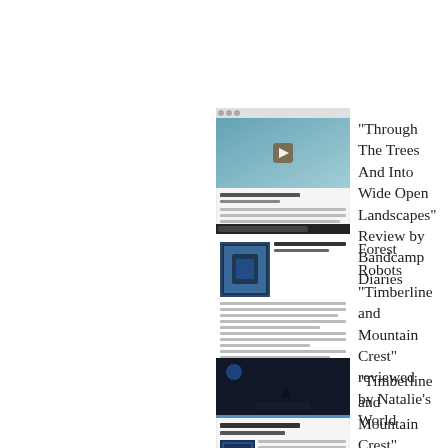[Figure (screenshot): Thumbnail screenshot of a webpage article about Through The Trees And Into Wide Open Landscapes review by Bandcamp Diaries]
"Through The Trees And Into Wide Open Landscapes" Review by Bandcamp Diaries
[Figure (screenshot): Thumbnail screenshot of a webpage article about Forest Robots Timberline and Mountain Crest reviewed by Natalie's World]
Forest Robots "Timberline and Mountain Crest" reviewed by Natalie's World
[Figure (screenshot): Thumbnail screenshot of a webpage article about Timberline and Mountain Crest review by FV Reviews]
"Timberline and Mountain Crest" review by FV Reviews